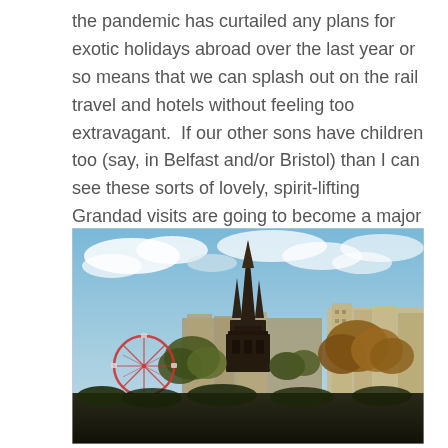the pandemic has curtailed any plans for exotic holidays abroad over the last year or so means that we can splash out on the rail travel and hotels without feeling too extravagant.  If our other sons have children too (say, in Belfast and/or Bristol) than I can see these sorts of lovely, spirit-lifting Grandad visits are going to become a major preoccupation!
[Figure (photo): Outdoor cityscape photograph showing the Scott Monument (a tall Gothic spire) in Edinburgh, with a Ferris wheel to the left, autumn trees, and buildings in the background under a partly cloudy blue sky.]